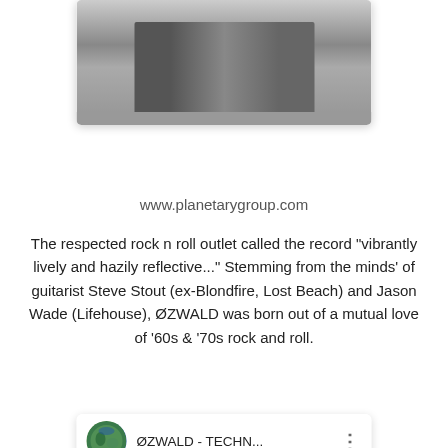[Figure (photo): Black and white photo of two people lying on the ground, shown in a card with rounded corners and drop shadow]
www.planetarygroup.com
The respected rock n roll outlet called the record "vibrantly lively and hazily reflective..." Stemming from the minds' of guitarist Steve Stout (ex-Blondfire, Lost Beach) and Jason Wade (Lifehouse), ØZWALD was born out of a mutual love of '60s & '70s rock and roll.
[Figure (screenshot): YouTube video embed showing ØZWALD - TECHN... video with circular thumbnail of earth/globe, YouTube play button in red, and three-dot menu icon]